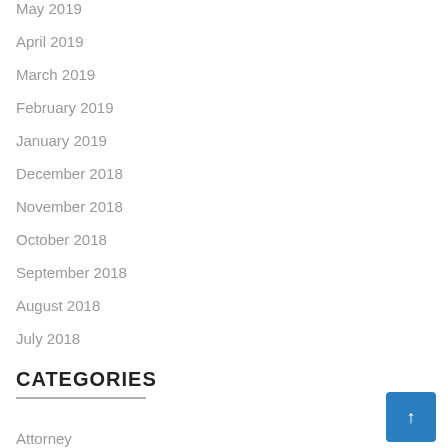May 2019
April 2019
March 2019
February 2019
January 2019
December 2018
November 2018
October 2018
September 2018
August 2018
July 2018
CATEGORIES
Attorney